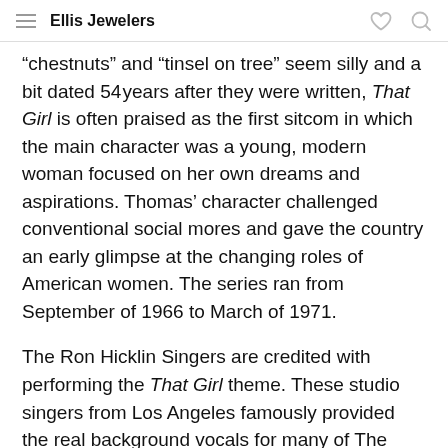Ellis Jewelers
“chestnuts” and “tinsel on tree” seem silly and a bit dated 54 years after they were written, That Girl is often praised as the first sitcom in which the main character was a young, modern woman focused on her own dreams and aspirations. Thomas’ character challenged conventional social mores and gave the country an early glimpse at the changing roles of American women. The series ran from September of 1966 to March of 1971.
The Ron Hicklin Singers are credited with performing the That Girl theme. These studio singers from Los Angeles famously provided the real background vocals for many of The Partridge Family recordings.